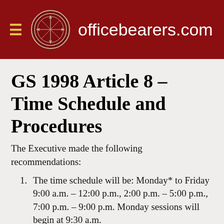officebearers.com
GS 1998 Article 8 – Time Schedule and Procedures
The Executive made the following recommendations:
1. The time schedule will be: Monday* to Friday 9:00 a.m. – 12:00 p.m., 2:00 p.m. – 5:00 p.m., 7:00 p.m. – 9:00 p.m. Monday sessions will begin at 9:30 a.m.
2. Saturdays will be optional.